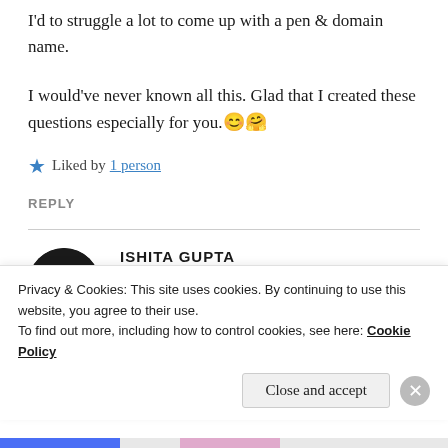I'd to struggle a lot to come up with a pen & domain name.
I would've never known all this. Glad that I created these questions especially for you.😊🤗
★ Liked by 1 person
REPLY
ISHITA GUPTA
Jul 14, 2020 at 11:58 pm
Privacy & Cookies: This site uses cookies. By continuing to use this website, you agree to their use.
To find out more, including how to control cookies, see here: Cookie Policy
Close and accept